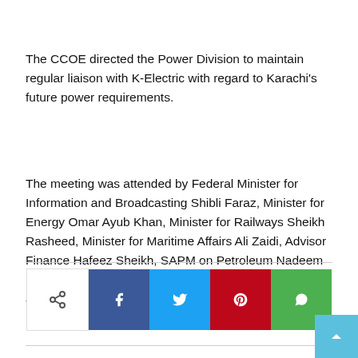The CCOE directed the Power Division to maintain regular liaison with K-Electric with regard to Karachi's future power requirements.
The meeting was attended by Federal Minister for Information and Broadcasting Shibli Faraz, Minister for Energy Omar Ayub Khan, Minister for Railways Sheikh Rasheed, Minister for Maritime Affairs Ali Zaidi, Advisor Finance Hafeez Sheikh, SAPM on Petroleum Nadeem Babar, SAPM on Mineral Resources Shahzad Qasim, and officials of various divisions, the NEPRA, and the NTDC.
[Figure (other): Social share buttons row: share icon (outline), Facebook (blue), Twitter (light blue), Pinterest (red), WhatsApp (green), and a scroll-to-top button (light blue with up arrow)]